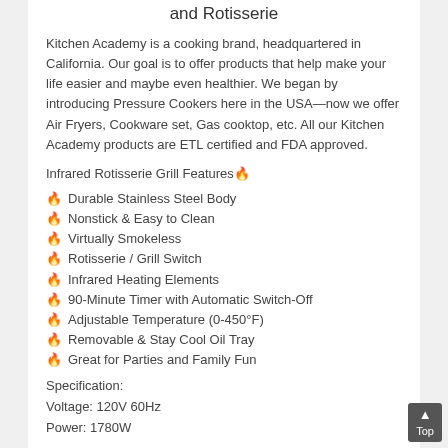and Rotisserie
Kitchen Academy is a cooking brand, headquartered in California. Our goal is to offer products that help make your life easier and maybe even healthier. We began by introducing Pressure Cookers here in the USA—now we offer Air Fryers, Cookware set, Gas cooktop, etc. All our Kitchen Academy products are ETL certified and FDA approved.
Infrared Rotisserie Grill Features🔥
🔥 Durable Stainless Steel Body
🔥Nonstick & Easy to Clean
🔥 Virtually Smokeless
🔥Rotisserie / Grill Switch
🔥Infrared Heating Elements
🔥90-Minute Timer with Automatic Switch-Off
🔥Adjustable Temperature (0-450°F)
🔥Removable & Stay Cool Oil Tray
🔥Great for Parties and Family Fun
Specification:
Voltage: 120V 60Hz
Power: 1780W